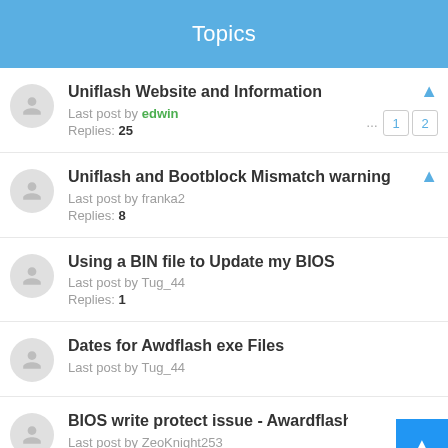Topics
Uniflash Website and Information
Last post by edwin
Replies: 25
Uniflash and Bootblock Mismatch warning
Last post by franka2
Replies: 8
Using a BIN file to Update my BIOS
Last post by Tug_44
Replies: 1
Dates for Awdflash exe Files
Last post by Tug_44
BIOS write protect issue - Awardflash 8
Last post by ZeoKnight253